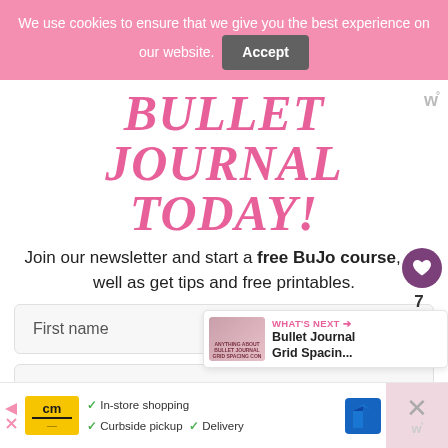We use cookies to ensure that we give you the best experience on our website. Accept
BULLET JOURNAL TODAY!
Join our newsletter and start a free BuJo course, as well as get tips and free printables.
First name
Email address
[Figure (other): WHAT'S NEXT arrow label with thumbnail image and text: Bullet Journal Grid Spacin...]
In-store shopping  Curbside pickup  Delivery